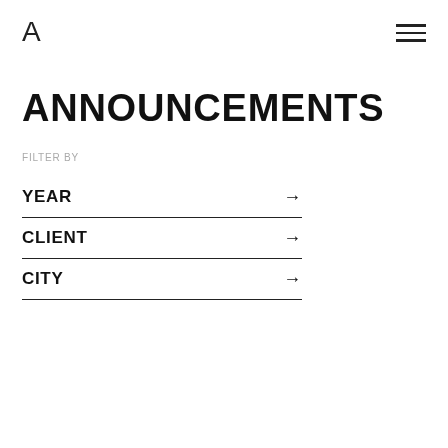A
ANNOUNCEMENTS
FILTER BY
YEAR →
CLIENT →
CITY →